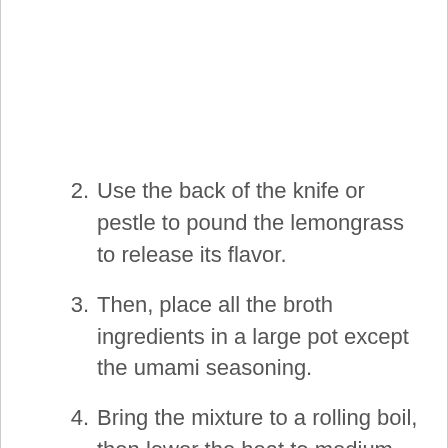2. Use the back of the knife or pestle to pound the lemongrass to release its flavor.
3. Then, place all the broth ingredients in a large pot except the umami seasoning.
4. Bring the mixture to a rolling boil, then lower the heat to medium and cook for an hour. Feel free to use an Instant pot to reduce the cooking...